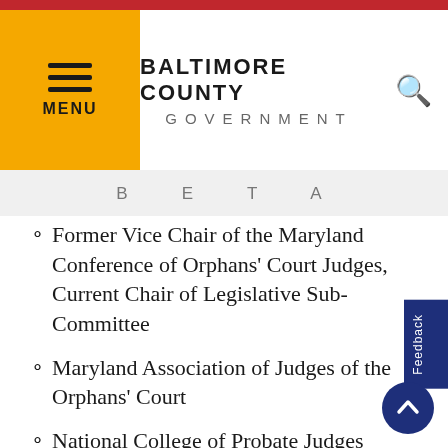BALTIMORE COUNTY GOVERNMENT
BETA
Former Vice Chair of the Maryland Conference of Orphans' Court Judges, Current Chair of Legislative Sub-Committee
Maryland Association of Judges of the Orphans' Court
National College of Probate Judges
Baltimore County and Maryland State Bar Associations